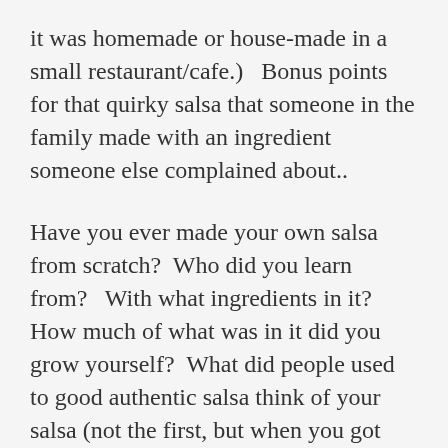it was homemade or house-made in a small restaurant/cafe.)   Bonus points for that quirky salsa that someone in the family made with an ingredient someone else complained about..
Have you ever made your own salsa from scratch?  Who did you learn from?   With what ingredients in it?   How much of what was in it did you grow yourself?  What did people used to good authentic salsa think of your salsa (not the first, but when you got better at it.)  Could you get a note of recommendation from those people about your salsa?  Bonus points for making both salsa roja and salsa verde.  Confession: I've never made salsa verde because we never grew